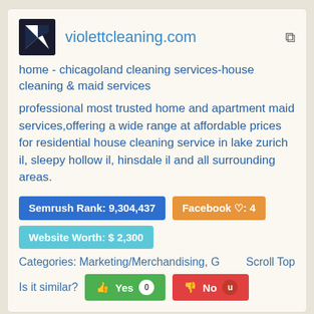[Figure (logo): Violett Cleaning logo: dark navy square with white V shape]
violettcleaning.com
home - chicagoland cleaning services-house cleaning & maid services
professional most trusted home and apartment maid services,offering a wide range at affordable prices for residential house cleaning service in lake zurich il, sleepy hollow il, hinsdale il and all surrounding areas.
Semrush Rank: 9,304,437
Facebook ♡: 4
Website Worth: $ 2,300
Categories: Marketing/Merchandising, G
Scroll Top
Is it similar?
Yes 0
No
[Figure (screenshot): HugeDomains.com advertisement banner showing the HugeDomains logo in large bold text with blue 'Domains' portion]